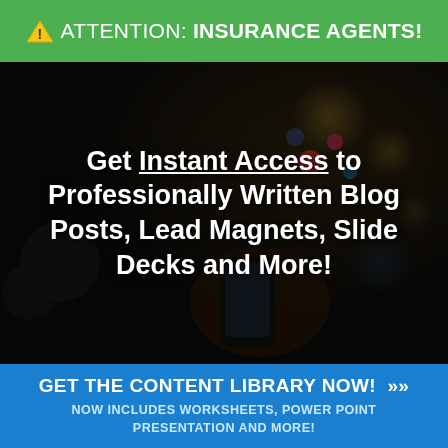⚠ ATTENTION: INSURANCE AGENTS!
[Figure (photo): Dark background image of a person holding a smartphone with social media icons/lights in the background, serving as hero image for the advertisement]
Get Instant Access to Professionally Written Blog Posts, Lead Magnets, Slide Decks and More!
GET THE CONTENT LIBRARY NOW! >> NOW INCLUDES WORKSHEETS, POWER POINT PRESENTATION AND MORE!